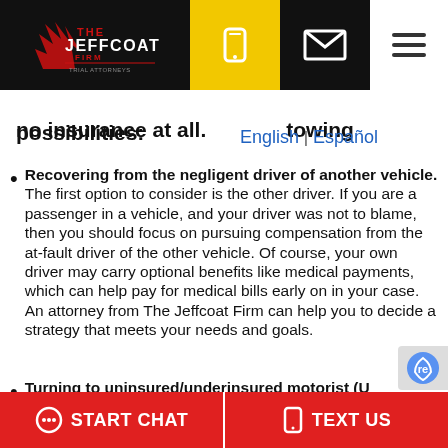The Jeffcoat Firm — Navigation bar with logo, phone, email, menu
no insurance at all. towing possibilities:
English | Español
Recovering from the negligent driver of another vehicle. The first option to consider is the other driver. If you are a passenger in a vehicle, and your driver was not to blame, then you should focus on pursuing compensation from the at-fault driver of the other vehicle. Of course, your own driver may carry optional benefits like medical payments, which can help pay for medical bills early on in your case. An attorney from The Jeffcoat Firm can help you to decide a strategy that meets your needs and goals.
Turning to uninsured/underinsured motorist (U…
START CHAT   TEXT US